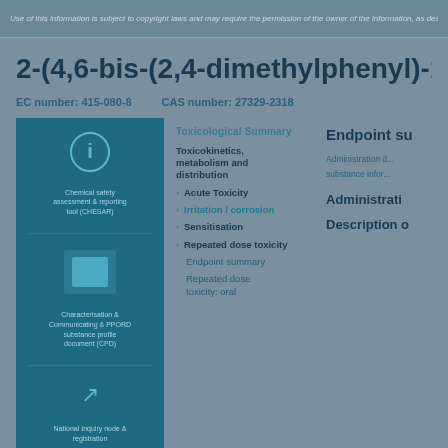Use of this information is subject to copyright laws and may require the permission...
2-(4,6-bis-(2,4-dimethylphenyl)-1,3,5-tria...
EC number: 415-080-8   CAS number: 27329-2318
[Figure (infographic): Teal/blue left panel with info icon, structure icon, and navigation arrow icon with descriptive text labels]
Toxicological Summary
Toxicokinetics, metabolism and distribution
Acute Toxicity
Irritation / corrosion
Sensitisation
Repeated dose toxicity
Endpoint summary
Repeated dose toxicity: oral
Endpoint su...
Administration d...
substance infor...
Administration...
Description o...